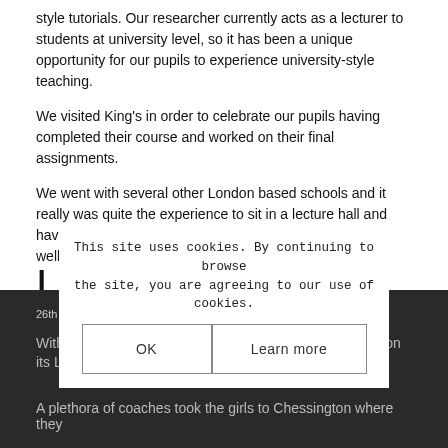style tutorials. Our researcher currently acts as a lecturer to students at university level, so it has been a unique opportunity for our pupils to experience university-style teaching.
We visited King's in order to celebrate our pupils having completed their course and worked on their final assignments.
We went with several other London based schools and it really was quite the experience to sit in a lecture hall and have a tour around one of the country's most historic and well performing universities.
Lag B'Omer
26th May 2022 / in Articles, Articles - Home Page / by enewsadmin
This site uses cookies. By continuing to browse the site, you are agreeing to our use of cookies.
With bright sunshine and blue skies, Hasmonean set off on its Lag B'Omer adve...
A plethora of coaches took the girls to Chessington where they